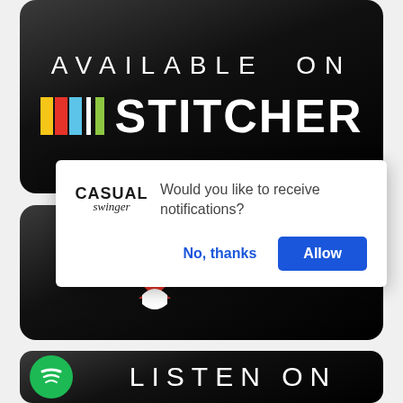[Figure (screenshot): Available on Stitcher banner — black rounded rectangle with colorful Stitcher logo blocks and large white text]
[Figure (screenshot): iHeartRADIO banner — black rounded rectangle with red heart/person icon and iHeartRADIO text]
[Figure (screenshot): Notification dialog overlay: Casual Swinger logo, 'Would you like to receive notifications?' text, 'No, thanks' and 'Allow' buttons]
[Figure (screenshot): Listen On banner (partial) — black rounded rectangle with green Spotify icon and 'LISTEN ON' text]